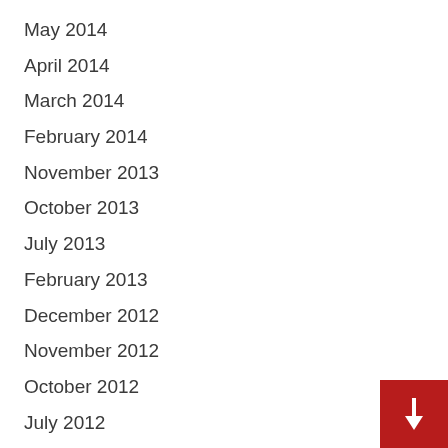May 2014
April 2014
March 2014
February 2014
November 2013
October 2013
July 2013
February 2013
December 2012
November 2012
October 2012
July 2012
April 2012